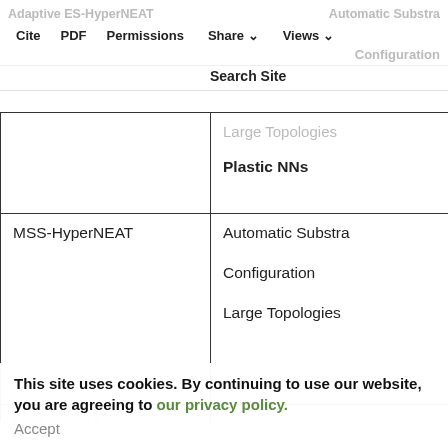Adaptive ES-HyperNEAT | Automatic Substrate Configuration | Cite | PDF | Permissions | Share | Views | Search Site
| Algorithm | Features |
| --- | --- |
|  | Large Topologies

Plastic NNs |
| MSS-HyperNEAT | Automatic Substrate Configuration

Large Topologies |
| Modular NEAT | Modular NNs

Large Topologies |
This site uses cookies. By continuing to use our website, you are agreeing to our privacy policy.
Accept